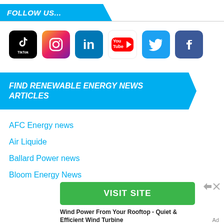FOLLOW US...
[Figure (infographic): Social media icons row: TikTok, Instagram, LinkedIn, YouTube, Twitter, Facebook]
FIND RENEWABLE ENERGY NEWS ARTICLES
AFC Energy news
Air Liquide
Ballard Power news
Bloom Energy News
[Figure (other): Advertisement: Green VISIT SITE button with ad controls and text: Wind Power From Your Rooftop - Quiet & Efficient Wind Turbine]